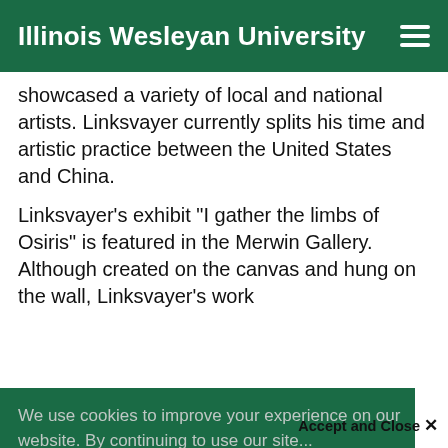Illinois Wesleyan University
showcased a variety of local and national artists. Linksvayer currently splits his time and artistic practice between the United States and China.
Linksvayer's exhibit “I gather the limbs of Osiris” is featured in the Merwin Gallery. Although created on the canvas and hung on the wall, Linksvayer's work
We use cookies to improve your experience on our website. By continuing to use our site...
Your browser settings do not allow cross-site tracking for advertising. Click on this page to allow AdRoll to use cross-site tracking to tailor ads to you. Learn more or opt out of this AdRoll tracking by clicking here. This message only appears once.